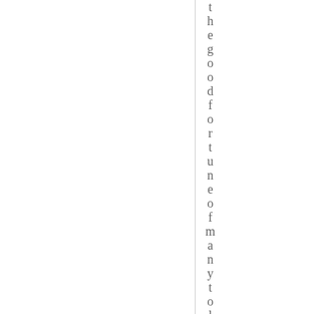the good fortune of many to li y